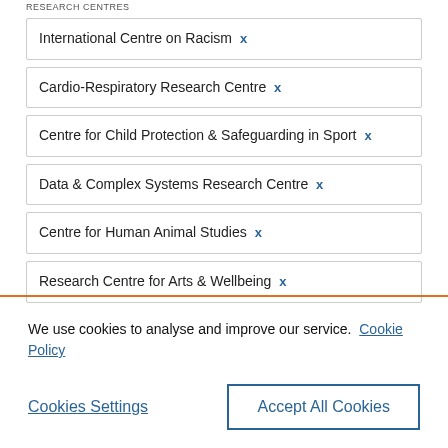RESEARCH CENTRES
International Centre on Racism ×
Cardio-Respiratory Research Centre ×
Centre for Child Protection & Safeguarding in Sport ×
Data & Complex Systems Research Centre ×
Centre for Human Animal Studies ×
Research Centre for Arts & Wellbeing ×
We use cookies to analyse and improve our service. Cookie Policy
Cookies Settings | Accept All Cookies